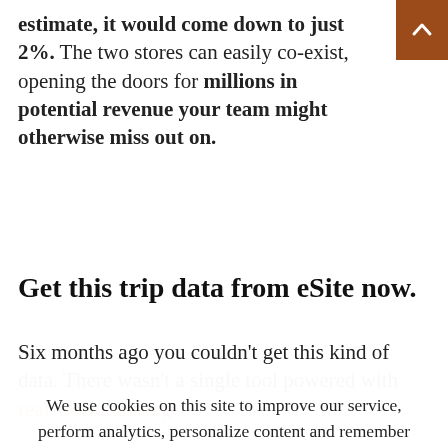estimate, it would come down to just 2%. The two stores can easily co-exist, opening the doors for millions in potential revenue your team might otherwise miss out on.
Get this trip data from eSite now.
Six months ago you couldn't get this kind of data. There wasn't a single tool powered with real-world driving
We use cookies on this site to improve our service, perform analytics, personalize content and remember website preferences. By using this site, you consent to these cookies. eSite may collect and use personal information that you submit in any manner consistent with our privacy policy. For more information visit our privacy policy.   Cookie settings
ACCEPT